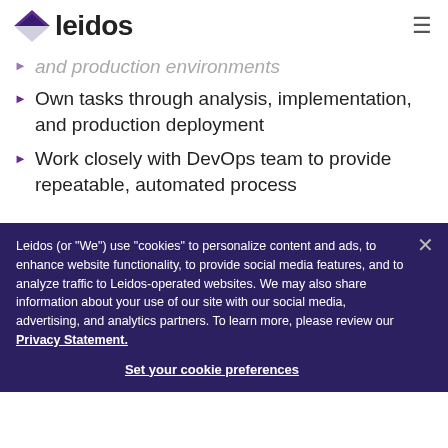leidos
and production environments
Own tasks through analysis, implementation, and production deployment
Work closely with DevOps team to provide repeatable, automated process
Support CI/CD automation related to services
Communicate effectively across product development, application security teams
Leidos (or "We") use "cookies" to personalize content and ads, to enhance website functionality, to provide social media features, and to analyze traffic to Leidos-operated websites. We may also share information about your use of our site with our social media, advertising, and analytics partners. To learn more, please review our Privacy Statement.
Set your cookie preferences